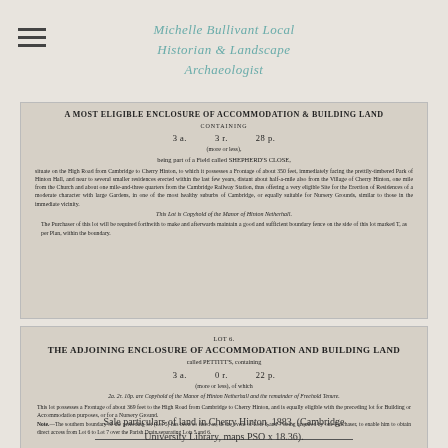Michelle Bullivant Local Historian & Landscape Archaeologist
[Figure (photo): Scanned document page showing lot 5 sale particulars for accommodation and building land called Shepherd's Close, containing 3a. 3r. 28p., on the High Road from Cambridge to Cherry Hinton, copyhold of the Manor of Hinton Netherhall, 1883.]
[Figure (photo): Scanned document page showing Lot 6: The Adjoining Enclosure of Accommodation and Building Land called Pettitt's, containing 3a. 0r. 22p., with note about southern boundary and Parish Drain, 1883.]
Sale particulars of land in Cherry Hinton, 1883. (Cambridge University Library, maps PSO x 18.36).